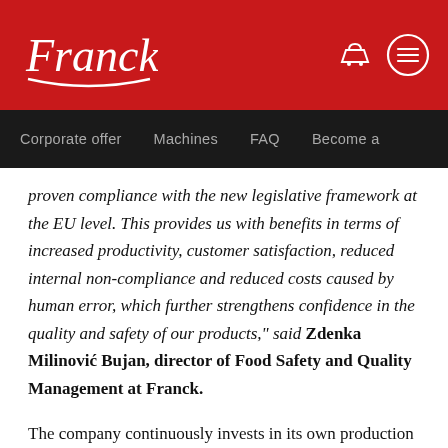Franck
Corporate offer   Machines   FAQ   Become a
proven compliance with the new legislative framework at the EU level. This provides us with benefits in terms of increased productivity, customer satisfaction, reduced internal non-compliance and reduced costs caused by human error, which further strengthens confidence in the quality and safety of our products," said Zdenka Milinović Bujan, director of Food Safety and Quality Management at Franck.
The company continuously invests in its own production processes, which ensures that the strictest criteria for a high-quality and healthy product are met. Franck's